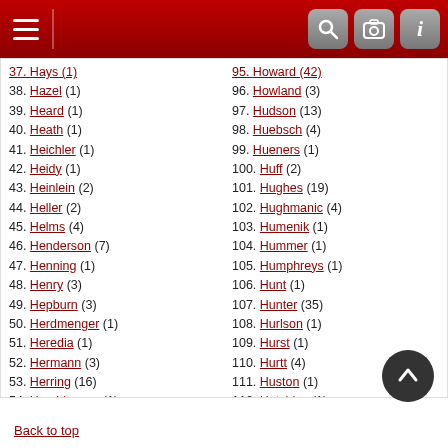Navigation header with hamburger menu and icons
38. Hazel (1)
39. Heard (1)
40. Heath (1)
41. Heichler (1)
42. Heidy (1)
43. Heinlein (2)
44. Heller (2)
45. Helms (4)
46. Henderson (7)
47. Henning (1)
48. Henry (3)
49. Hepburn (3)
50. Herdmenger (1)
51. Heredia (1)
52. Hermann (3)
53. Herring (16)
54. Hershberger (1)
55. Hertz (1)
56. Hertzmann (5)
57. Herz (5)
58. Herzig (1)
96. Howland (3)
97. Hudson (13)
98. Huebsch (4)
99. Hueners (1)
100. Huff (2)
101. Hughes (19)
102. Hughmanic (4)
103. Humenik (1)
104. Hummer (1)
105. Humphreys (1)
106. Hunt (1)
107. Hunter (35)
108. Hurlson (1)
109. Hurst (1)
110. Hurtt (4)
111. Huston (1)
112. Hutchins (1)
113. Huzier (3)
114. Hyatt (2)
115. Hyer (1)
116. Hyland (1)
Back to top